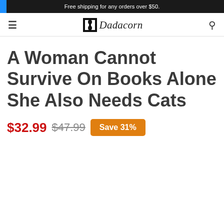Free shipping for any orders over $50.
[Figure (logo): Dadacorn brand logo with stylized 'D' icon and italic script text]
A Woman Cannot Survive On Books Alone She Also Needs Cats
$32.99  $47.99  Save 31%